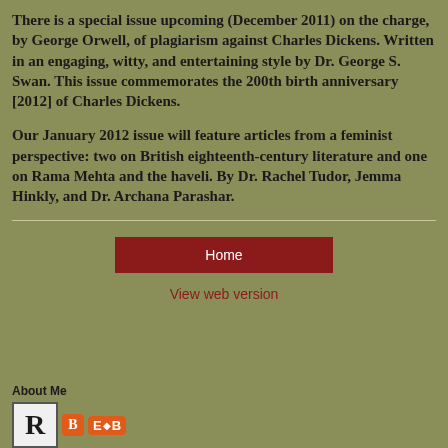There is a special issue upcoming (December 2011) on the charge, by George Orwell, of plagiarism against Charles Dickens. Written in an engaging, witty, and entertaining style by Dr. George S. Swan. This issue commemorates the 200th birth anniversary [2012] of Charles Dickens.
Our January 2012 issue will feature articles from a feminist perspective: two on British eighteenth-century literature and one on Rama Mehta and the haveli. By Dr. Rachel Tudor, Jemma Hinkly, and Dr. Archana Parashar.
Home
View web version
About Me
[Figure (logo): R logo block and E+B blogger icon]